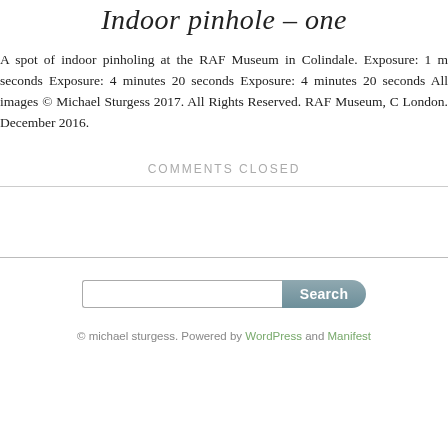Indoor pinhole – one
A spot of indoor pinholing at the RAF Museum in Colindale. Exposure: 1 minutes seconds Exposure: 4 minutes 20 seconds Exposure: 4 minutes 20 seconds All images © Michael Sturgess 2017. All Rights Reserved. RAF Museum, London. December 2016.
COMMENTS CLOSED
Search
© michael sturgess. Powered by WordPress and Manifest